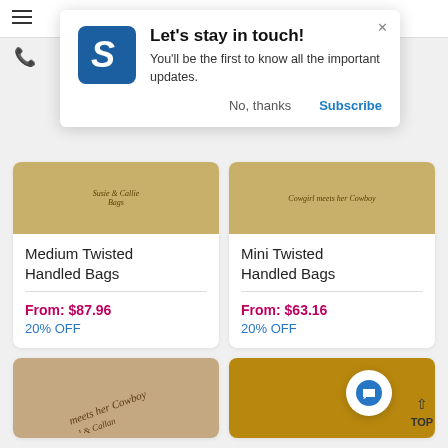[Figure (screenshot): Website notification modal with logo saying 'Let's stay in touch!' with Subscribe/No thanks options, overlaid on an e-commerce product listing page showing twisted handled bags]
Let's stay in touch!
You'll be the first to know all the important updates.
No, thanks
Subscribe
Medium Twisted Handled Bags
From: $87.96
20% OFF
Mini Twisted Handled Bags
From: $63.16
20% OFF